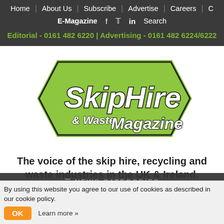Home  About Us  Subscribe  Advertise  Careers  C
E-Magazine  f  tw  in  Search
Editorial - 0161 482 6220 | Advertising - 0161 482 6224/6222
[Figure (logo): Skip Hire & Waste Magazine logo — green angular chevron/diamond shape with 'SkipHire & Waste Magazine' text in bold italic white lettering with black outline]
The voice of the skip hire, recycling and waste industries in the UK & Ireland.
By using this website you agree to our use of cookies as described in our cookie policy.
OK  Learn more »
≡ NEWS CATEGORIES